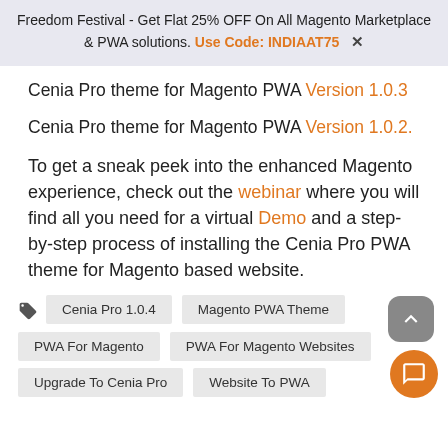Freedom Festival - Get Flat 25% OFF On All Magento Marketplace & PWA solutions. Use Code: INDIAAT75 ✖
Cenia Pro theme for Magento PWA Version 1.0.3
Cenia Pro theme for Magento PWA Version 1.0.2.
To get a sneak peek into the enhanced Magento experience, check out the webinar where you will find all you need for a virtual Demo and a step-by-step process of installing the Cenia Pro PWA theme for Magento based website.
Cenia Pro 1.0.4
Magento PWA Theme
PWA For Magento
PWA For Magento Websites
Upgrade To Cenia Pro
Website To PWA